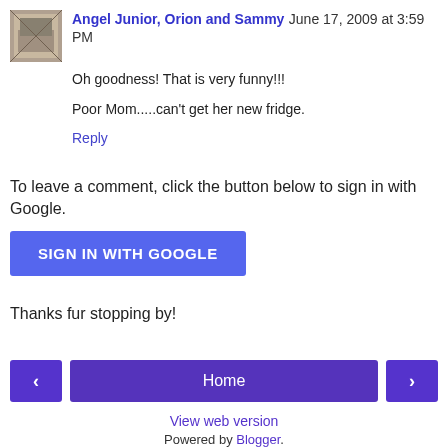Angel Junior, Orion and Sammy June 17, 2009 at 3:59 PM
Oh goodness! That is very funny!!!
Poor Mom.....can't get her new fridge.
Reply
To leave a comment, click the button below to sign in with Google.
SIGN IN WITH GOOGLE
Thanks fur stopping by!
Home
View web version
Powered by Blogger.